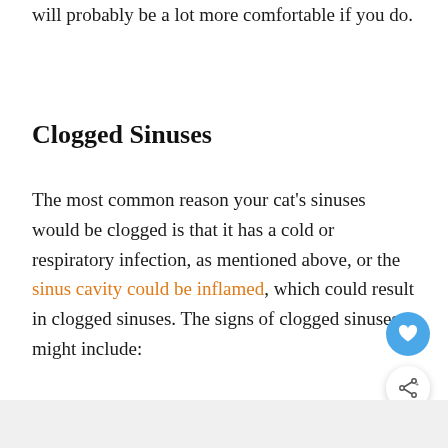will probably be a lot more comfortable if you do.
Clogged Sinuses
The most common reason your cat's sinuses would be clogged is that it has a cold or respiratory infection, as mentioned above, or the sinus cavity could be inflamed, which could result in clogged sinuses. The signs of clogged sinuses might include: